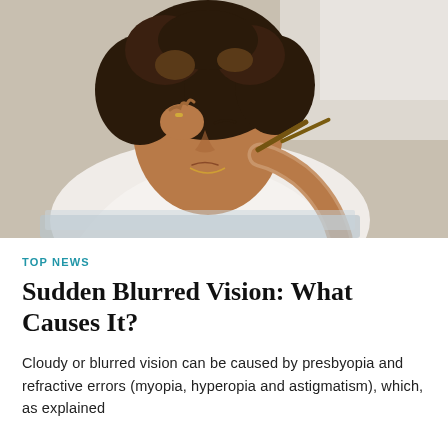[Figure (photo): A woman with curly hair pinching the bridge of her nose in apparent discomfort, holding eyeglasses in her other hand, seated in front of a laptop. She appears to be experiencing eye strain or a headache. She is wearing a white blouse.]
TOP NEWS
Sudden Blurred Vision: What Causes It?
Cloudy or blurred vision can be caused by presbyopia and refractive errors (myopia, hyperopia and astigmatism), which, as explained